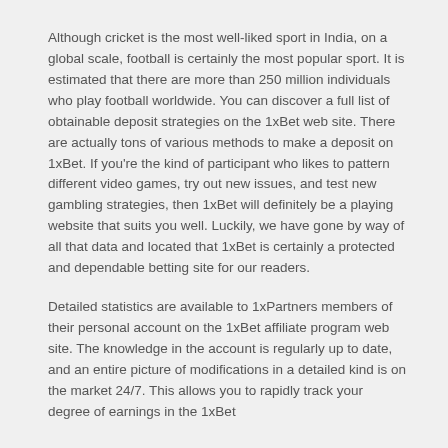Although cricket is the most well-liked sport in India, on a global scale, football is certainly the most popular sport. It is estimated that there are more than 250 million individuals who play football worldwide. You can discover a full list of obtainable deposit strategies on the 1xBet web site. There are actually tons of various methods to make a deposit on 1xBet. If you're the kind of participant who likes to pattern different video games, try out new issues, and test new gambling strategies, then 1xBet will definitely be a playing website that suits you well. Luckily, we have gone by way of all that data and located that 1xBet is certainly a protected and dependable betting site for our readers.
Detailed statistics are available to 1xPartners members of their personal account on the 1xBet affiliate program web site. The knowledge in the account is regularly up to date, and an entire picture of modifications in a detailed kind is on the market 24/7. This allows you to rapidly track your degree of earnings in the 1xBet